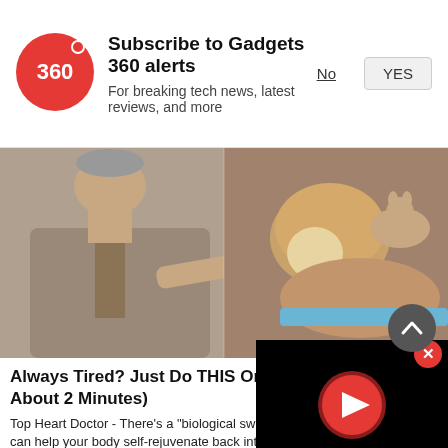[Figure (logo): Gadgets 360 red circular logo with '360' text]
Subscribe to Gadgets 360 alerts
For breaking tech news, latest reviews, and more
No
YES
[Figure (photo): Man in suit pointing at dental/food model on left; small animal (hamster/rabbit) in sandy enclosure on right]
Always Tired? Just Do THIS Once Ea... About 2 Minutes)
Top Heart Doctor - There’s a “biological switc... can help your body self-rejuvenate back into
Gundry MD | Sponsored
[Figure (screenshot): Black video player with red play button circle]
[Figure (photo): Bottom strip showing close-up of elderly person's eyes and forehead]